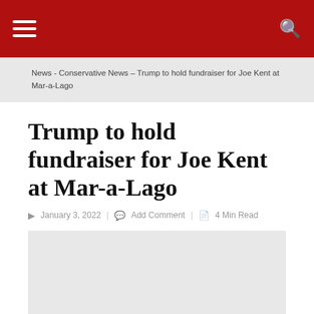☰  🔍
News - Conservative News – Trump to hold fundraiser for Joe Kent at Mar-a-Lago
Trump to hold fundraiser for Joe Kent at Mar-a-Lago
January 3, 2022  Add Comment  4 Min Read
[Figure (photo): Light gray image placeholder rectangle below article metadata]